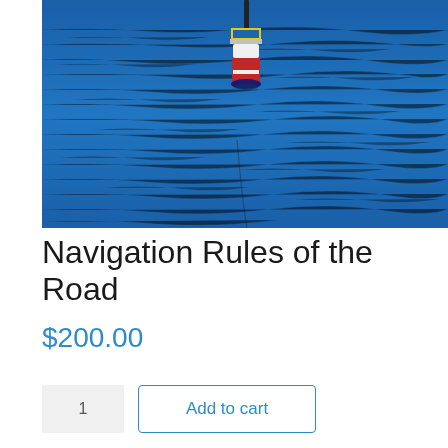[Figure (photo): A navigation buoy floating on blue rippled water. The buoy has a red and white body with a yellow railing platform on top and a dark pole extending upward. The water is deep blue with light wave patterns.]
Navigation Rules of the Road
$200.00
1  Add to cart